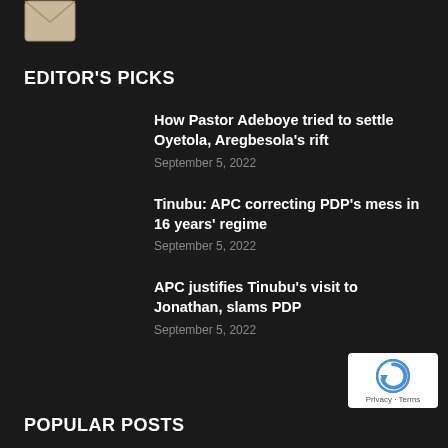[Figure (logo): Envelope/email icon in light beige/white color at top left]
EDITOR'S PICKS
How Pastor Adeboye tried to settle Oyetola, Aregbesola's rift
September 5, 2022
Tinubu: APC correcting PDP's mess in 16 years' regime
September 5, 2022
APC justifies Tinubu's visit to Jonathan, slams PDP
September 5, 2022
POPULAR POSTS
[Figure (logo): Google reCAPTCHA badge with Privacy and Terms links]